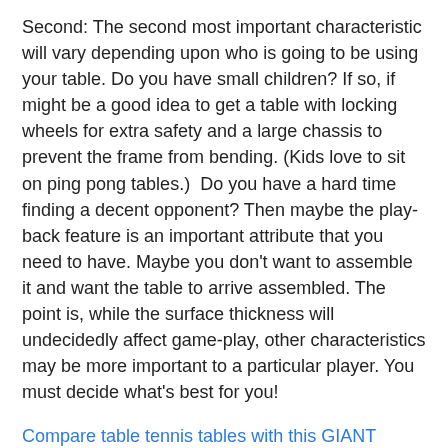Second: The second most important characteristic will vary depending upon who is going to be using your table. Do you have small children? If so, if might be a good idea to get a table with locking wheels for extra safety and a large chassis to prevent the frame from bending. (Kids love to sit on ping pong tables.)  Do you have a hard time finding a decent opponent? Then maybe the play-back feature is an important attribute that you need to have. Maybe you don't want to assemble it and want the table to arrive assembled. The point is, while the surface thickness will undecidedly affect game-play, other characteristics may be more important to a particular player. You must decide what's best for you!
Compare table tennis tables with this GIANT comparison chart.
Last But Important Characteristic
Third: The ball. You might be thinking, I thought this was about tables? But it is. Even with a professional table, if you're playing with a low-quality ball the game-play will be negatively affected.